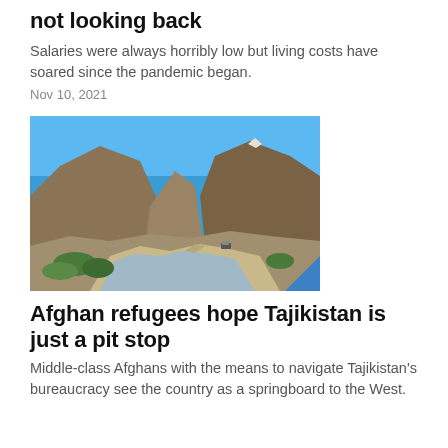not looking back
Salaries were always horribly low but living costs have soared since the pandemic began.
Nov 10, 2021
[Figure (photo): A mountain valley landscape with a river road winding through rocky brown mountains under a blue sky, with sparse green vegetation along the riverbank and a vehicle on the road.]
Afghan refugees hope Tajikistan is just a pit stop
Middle-class Afghans with the means to navigate Tajikistan's bureaucracy see the country as a springboard to the West.